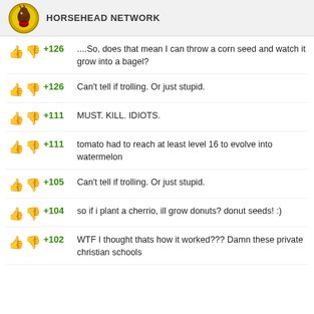HORSEHEAD NETWORK
+126  ....So, does that mean I can throw a corn seed and watch it grow into a bagel?
+126  Can't tell if trolling. Or just stupid.
+111  MUST. KILL. IDIOTS.
+111  tomato had to reach at least level 16 to evolve into watermelon
+105  Can't tell if trolling. Or just stupid.
+104  so if i plant a cherrio, ill grow donuts? donut seeds! :)
+102  WTF I thought thats how it worked??? Damn these private christian schools